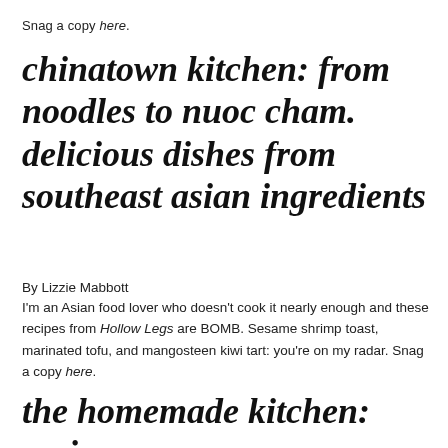Snag a copy here.
chinatown kitchen: from noodles to nuoc cham. delicious dishes from southeast asian ingredients
By Lizzie Mabbott
I'm an Asian food lover who doesn't cook it nearly enough and these recipes from Hollow Legs are BOMB. Sesame shrimp toast, marinated tofu, and mangosteen kiwi tart: you're on my radar. Snag a copy here.
the homemade kitchen: recipes